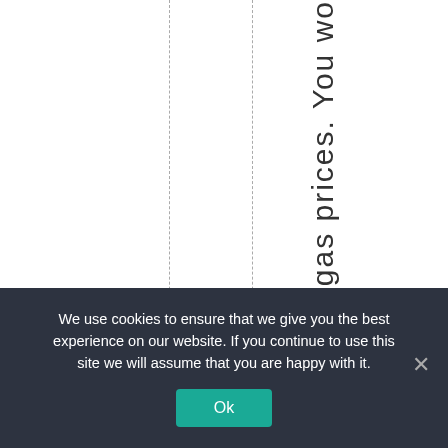gas prices. You wo
We use cookies to ensure that we give you the best experience on our website. If you continue to use this site we will assume that you are happy with it.